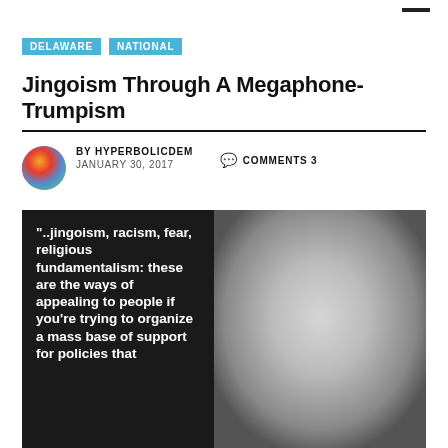DELAWARE   NATIONAL
Jingoism Through A Megaphone-Trumpism
BY HYPERBOLICDEM   JANUARY 30, 2017
COMMENTS 3
[Figure (photo): Black and white photo of an older man with glasses and curly hair, alongside a dark panel with a quote in bold white text: "..jingoism, racism, fear, religious fundamentalism: these are the ways of appealing to people if you're trying to organize a mass base of support for policies that"]